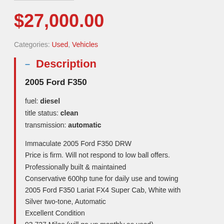$27,000.00
Categories: Used, Vehicles
Description
2005 Ford F350
fuel: diesel
title status: clean
transmission: automatic
Immaculate 2005 Ford F350 DRW
Price is firm. Will not respond to low ball offers.
Professionally built & maintained
Conservative 600hp tune for daily use and towing
2005 Ford F350 Lariat FX4 Super Cab, White with Silver two-tone, Automatic
Excellent Condition
93,727 Miles (will go up monthly as used)
Grey Leather interior, Power Everything, Sunroof